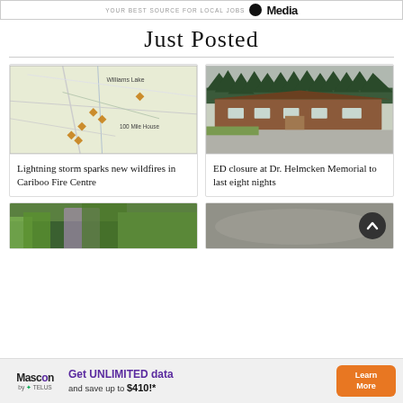YOUR BEST SOURCE FOR LOCAL JOBS  Media
Just Posted
[Figure (map): Map showing Williams Lake and 100 Mile House area with orange diamond markers indicating wildfire locations in the Cariboo Fire Centre region.]
Lightning storm sparks new wildfires in Cariboo Fire Centre
[Figure (photo): Photograph of Dr. Helmcken Memorial hospital building — a brown/red single-story structure with a large parking area and evergreen trees in the background.]
ED closure at Dr. Helmcken Memorial to last eight nights
[Figure (photo): Partial view of a garden scene with green plants and colorful objects.]
[Figure (photo): Partial dark/grey toned photo, partially obscured by a scroll-up circular button.]
Get UNLIMITED data and save up to $410!*  Learn More  Mascon by TELUS